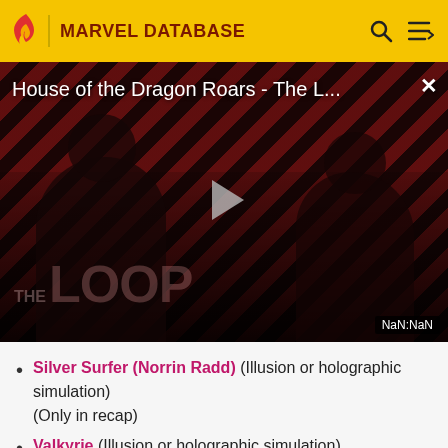MARVEL DATABASE
[Figure (screenshot): Video player thumbnail showing 'House of the Dragon Roars - The L...' with a diagonal stripe background in dark red/black, two silhouetted figures, THE LOOP watermark, a play button triangle, and NaN:NaN timer badge.]
Silver Surfer (Norrin Radd) (Illusion or holographic simulation)
(Only in recap)
Valkyrie (Illusion or holographic simulation)
(Only in recap)